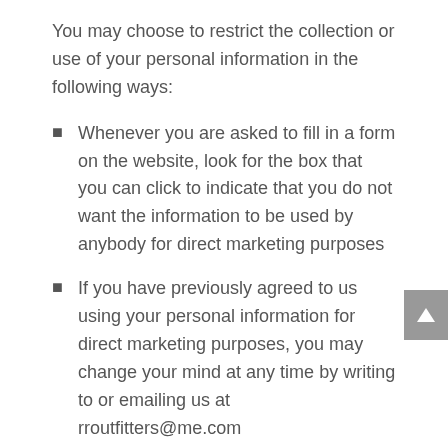You may choose to restrict the collection or use of your personal information in the following ways:
Whenever you are asked to fill in a form on the website, look for the box that you can click to indicate that you do not want the information to be used by anybody for direct marketing purposes
If you have previously agreed to us using your personal information for direct marketing purposes, you may change your mind at any time by writing to or emailing us at rroutfitters@me.com
We will not sell, distribute or lease your